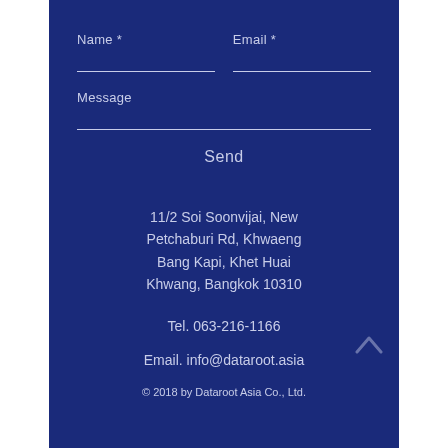Name *
Email *
Message
Send
11/2 Soi Soonvijai, New Petchaburi Rd, Khwaeng Bang Kapi, Khet Huai Khwang, Bangkok 10310
Tel. 063-216-1166
Email. info@dataroot.asia
© 2018 by Dataroot Asia Co., Ltd.